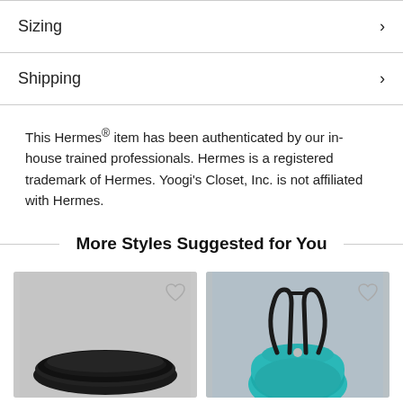Sizing
Shipping
This Hermes® item has been authenticated by our in-house trained professionals. Hermes is a registered trademark of Hermes. Yoogi's Closet, Inc. is not affiliated with Hermes.
More Styles Suggested for You
[Figure (photo): Product image of a black Hermes belt on a light gray background]
[Figure (photo): Product image of a teal/turquoise Hermes bag with black handles on a gray background]